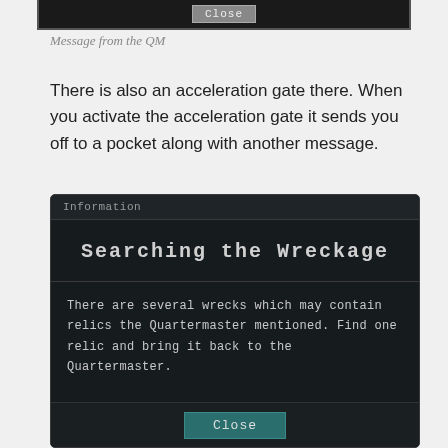[Figure (screenshot): Top portion of a dark game UI dialog with a Close button visible at the bottom of the cropped area]
Message from the QM
There is also an acceleration gate there. When you activate the acceleration gate it sends you off to a pocket along with another message.
[Figure (screenshot): In-game information dialog titled 'Searching the Wreckage' with text: There are several wrecks which may contain relics the Quartermaster mentioned. Find one relic and bring it back to the Quartermaster. Has a Close button at the bottom.]
All the instructions you'll get